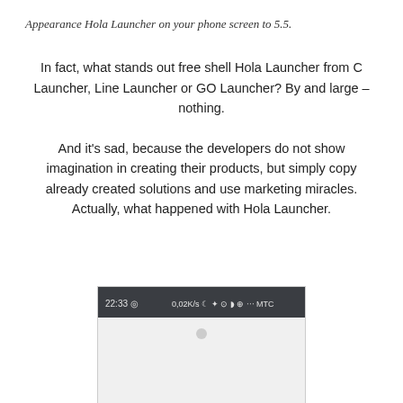Appearance Hola Launcher on your phone screen to 5.5.
In fact, what stands out free shell Hola Launcher from C Launcher, Line Launcher or GO Launcher? By and large – nothing.
And it's sad, because the developers do not show imagination in creating their products, but simply copy already created solutions and use marketing miracles. Actually, what happened with Hola Launcher.
[Figure (screenshot): Screenshot of a phone screen showing Hola Launcher with a status bar displaying time 22:33, data speed 0,02K/s, and carrier MTC on a dark status bar.]